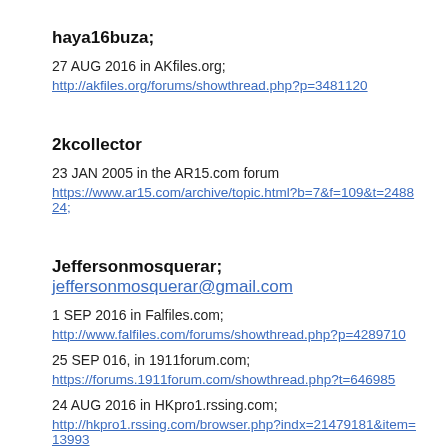haya16buza;
27 AUG 2016 in AKfiles.org;
http://akfiles.org/forums/showthread.php?p=3481120
2kcollector
23 JAN 2005 in the AR15.com forum
https://www.ar15.com/archive/topic.html?b=7&f=109&t=248824;
Jeffersonmosquerar; jeffersonmosquerar@gmail.com
1 SEP 2016 in Falfiles.com;
http://www.falfiles.com/forums/showthread.php?p=4289710
25 SEP 016, in 1911forum.com;
https://forums.1911forum.com/showthread.php?t=646985
24 AUG 2016 in HKpro1.rssing.com;
http://hkpro1.rssing.com/browser.php?indx=21479181&item=13993